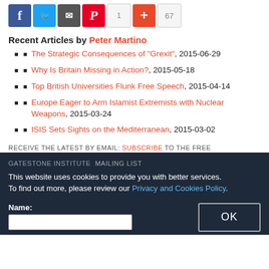[Figure (screenshot): Social share buttons row: Facebook (blue), Twitter (light blue), Email (dark gray), Pinterest (red), Google+1 (gray, count 1), Google+ (orange-red plus), share count (gray, 67)]
Recent Articles by Peter Martino
The Strategic Consequences of "Grexit", 2015-06-29
Why Is Britain Missing in Action?, 2015-05-18
Top British Universities Flunk Free Speech, 2015-04-14
Europe Eager to Arm Islamist Extremists with Nuclear Weapons, 2015-03-24
ISIS Sets Sights on the Mediterranean, 2015-03-02
RECEIVE THE LATEST BY EMAIL: SUBSCRIBE TO THE FREE
GATESTONE INSTITUTE MAILING LIST
This website uses cookies to provide you with better services. To find out more, please review our Privacy and Cookies Policy.
Name: